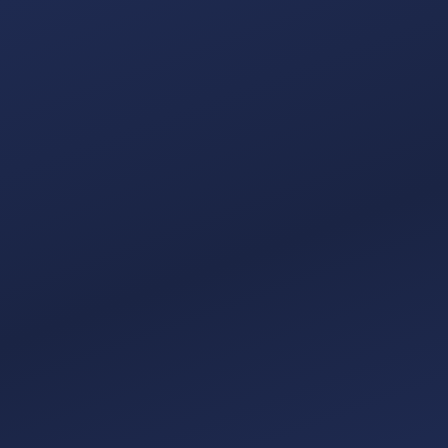discovered my wife was an android. Ellen went to work with me, smiling and happy, just like before